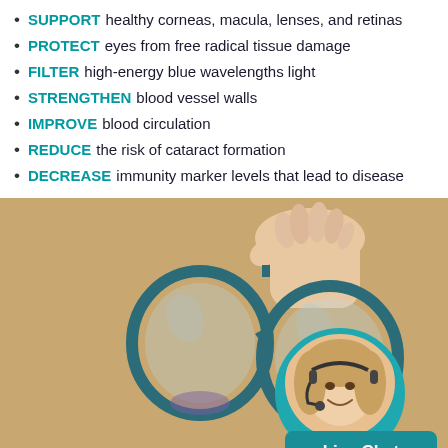SUPPORT healthy corneas, macula, lenses, and retinas
PROTECT eyes from free radical tissue damage
FILTER high-energy blue wavelengths light
STRENGTHEN blood vessel walls
IMPROVE blood circulation
REDUCE the risk of cataract formation
DECREASE immunity marker levels that lead to disease
[Figure (photo): A hand holding a pair of glasses with a teal/blue frame, warm beige background. Inset circle shows a smiling woman with a headset. Live Chat button at bottom right.]